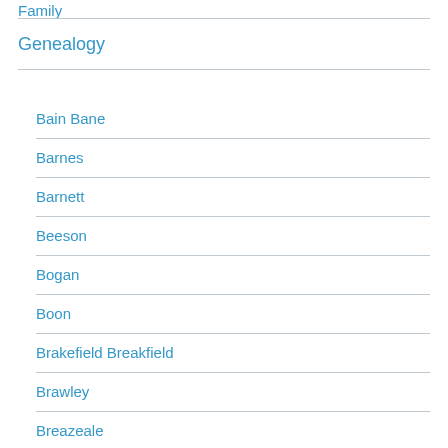Family
Genealogy
Bain Bane
Barnes
Barnett
Beeson
Bogan
Boon
Brakefield Breakfield
Brawley
Breazeale